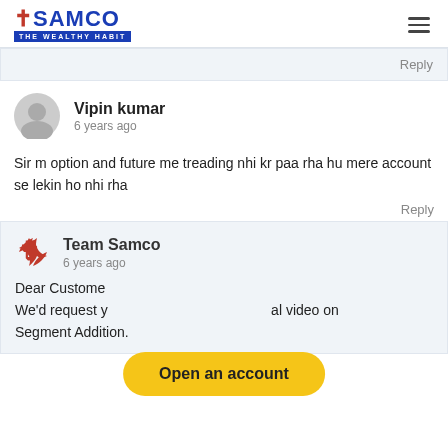SAMCO - THE WEALTHY HABIT
Reply
Vipin kumar
6 years ago
Sir m option and future me treading nhi kr paa rha hu mere account se lekin ho nhi rha
Reply
Team Samco
6 years ago
Dear Customer,
We'd request y...al video on Segment Addition.